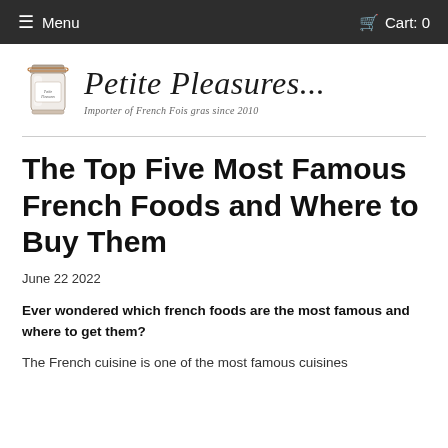≡ Menu   🛒 Cart: 0
[Figure (logo): Petite Pleasures logo with a jar icon and cursive text reading 'Petite Pleasures...' and subtitle 'Importer of French Fois gras since 2010']
The Top Five Most Famous French Foods and Where to Buy Them
June 22 2022
Ever wondered which french foods are the most famous and where to get them?
The French cuisine is one of the most famous cuisines